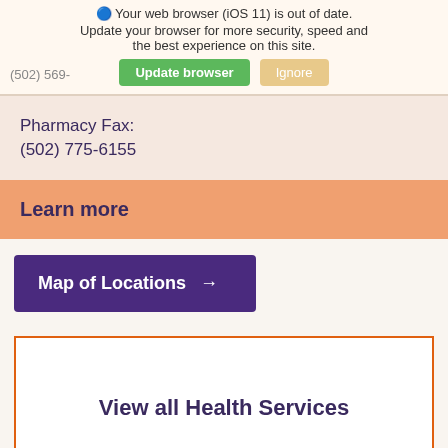Your web browser (iOS 11) is out of date. Update your browser for more security, speed and the best experience on this site.
Update browser | Ignore
(502) 569-[partial]
Pharmacy Fax:
(502) 775-6155
Learn more
Map of Locations →
View all Health Services